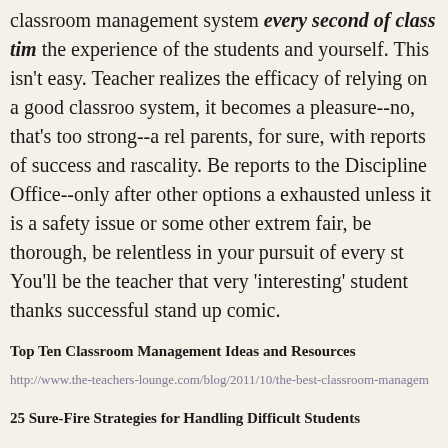classroom management system every second of class time the experience of the students and yourself. This isn't easy. Teacher realizes the efficacy of relying on a good classroom system, it becomes a pleasure--no, that's too strong--a relief. parents, for sure, with reports of success and rascality. Be reports to the Discipline Office--only after other options are exhausted unless it is a safety issue or some other extreme. Be fair, be thorough, be relentless in your pursuit of every student. You'll be the teacher that very 'interesting' student thanks as a successful stand up comic.
Top Ten Classroom Management Ideas and Resources
http://www.the-teachers-lounge.com/blog/2011/10/the-best-classroom-management-
25 Sure-Fire Strategies for Handling Difficult Students